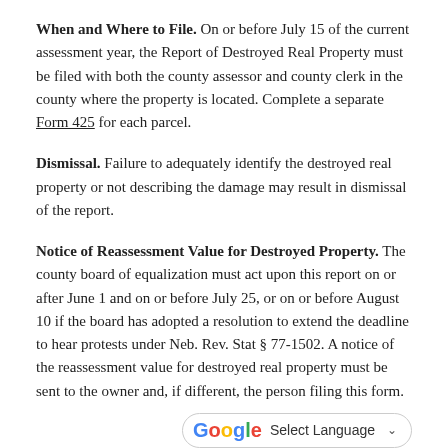When and Where to File. On or before July 15 of the current assessment year, the Report of Destroyed Real Property must be filed with both the county assessor and county clerk in the county where the property is located. Complete a separate Form 425 for each parcel.
Dismissal. Failure to adequately identify the destroyed real property or not describing the damage may result in dismissal of the report.
Notice of Reassessment Value for Destroyed Property. The county board of equalization must act upon this report on or after June 1 and on or before July 25, or on or before August 10 if the board has adopted a resolution to extend the deadline to hear protests under Neb. Rev. Stat § 77-1502. A notice of the reassessment value for destroyed real property must be sent to the owner and, if different, the person filing this form.
Protest to the County Board of Equalization. If you